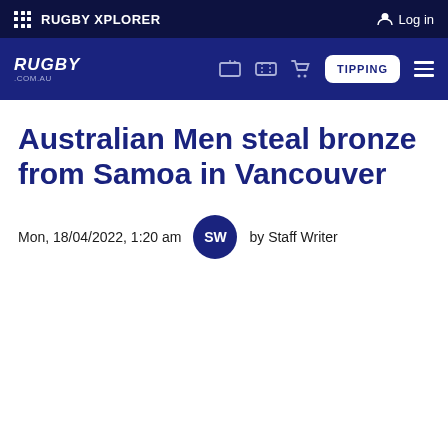RUGBY XPLORER | Log in
RUGBY.COM.AU | TIPPING
Australian Men steal bronze from Samoa in Vancouver
Mon, 18/04/2022, 1:20 am  by Staff Writer